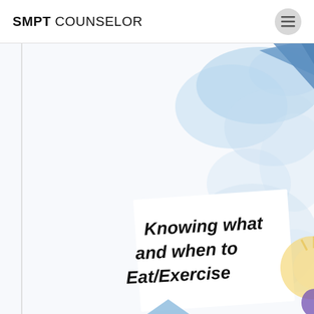SMPT COUNSELOR
[Figure (illustration): A colorful illustration/collage with blue watercolor clouds and sky shapes, a white tilted panel with italic bold text 'Knowing what and when to Eat/Exercise', a yellow/orange sunburst shape at right, and a small blue triangle at bottom center. Background is mostly white/light with blue watercolor blobs in upper right area.]